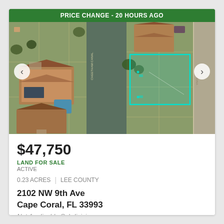[Figure (photo): Aerial/satellite view of a vacant lot near a canal in Cape Coral, FL. The lot is highlighted with a cyan/teal rectangle outline. Surrounding properties include houses with green lawns, driveways, and a waterway (Cheetham Canal) running through the center. Navigation arrows on left and right sides. Green banner at top reads 'PRICE CHANGE - 20 HOURS AGO'.]
$47,750
LAND FOR SALE
ACTIVE
0.23 ACRES | LEE COUNTY
2102 NW 9th Ave
Cape Coral, FL 33993
Not Applicable Subdivision